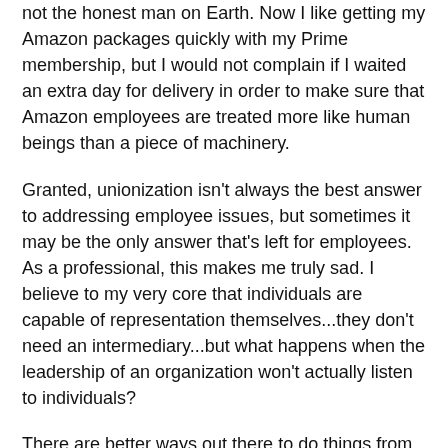not the honest man on Earth.  Now I like getting my Amazon packages quickly with my Prime membership, but I would not complain if I waited an extra day for delivery in order to make sure that Amazon employees are treated more like human beings than a piece of machinery.
Granted, unionization isn't always the best answer to addressing employee issues, but sometimes it may be the only answer that's left for employees.  As a professional, this makes me truly sad.  I believe to my very core that individuals are capable of representation themselves...they don't need an intermediary...but what happens when the leadership of an organization won't actually listen to individuals?
There are better ways out there to do things from a labor-management perspective.  It's worth looking at, for example, how things are done in Germany.
https://www.howtogermany.com/pages/german-workplace-organizations.html
As it stands, they probably didn't do best to prevent the employees and